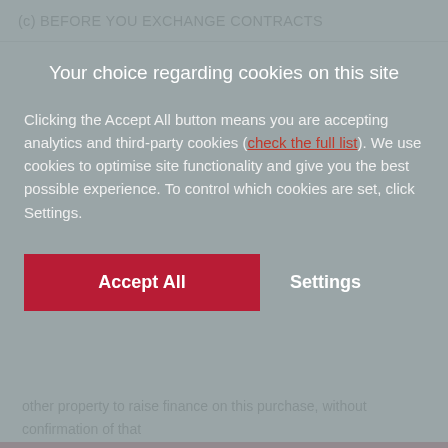(c) BEFORE YOU EXCHANGE CONTRACTS
[Figure (screenshot): Cookie consent overlay dialog box with grey semi-transparent background. Contains title 'Your choice regarding cookies on this site', body text about accepting analytics and third-party cookies with a red hyperlink 'check the full list', and two buttons: a red 'Accept All' button and a 'Settings' text button.]
other property to raise finance on this purchase, without confirmation of that